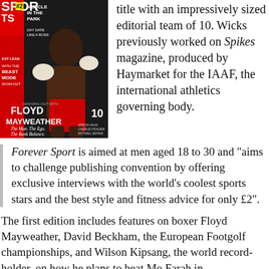[Figure (photo): Magazine cover of Sports magazine featuring Floyd Mayweather in boxing pose, with text 'MUSCLE IN THE PARK', 'FLOYD MAYWEATHER', 'The Man. The Ego. The Bank Balance.' and the number 10]
title with an impressively sized editorial team of 10. Wicks previously worked on Spikes magazine, produced by Haymarket for the IAAF, the international athletics governing body.
Forever Sport is aimed at men aged 18 to 30 and "aims to challenge publishing convention by offering exclusive interviews with the world's coolest sports stars and the best style and fitness advice for only £2".
The first edition includes features on boxer Floyd Mayweather, David Beckham, the European Footgolf championships, and Wilson Kipsang, the world record-holder, on how he plans to beat Mo Farah in